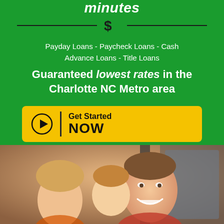minutes
[Figure (logo): Dollar sign / currency logo icon in dark color on green background with horizontal divider lines on either side]
Payday Loans - Paycheck Loans - Cash Advance Loans - Title Loans
Guaranteed lowest rates in the Charlotte NC Metro area
[Figure (infographic): Yellow CTA button with play/arrow circle icon, vertical divider, text reading 'Get Started NOW']
[Figure (photo): Photo of a smiling family (man, woman, child) in a car, viewed through the driver's window]